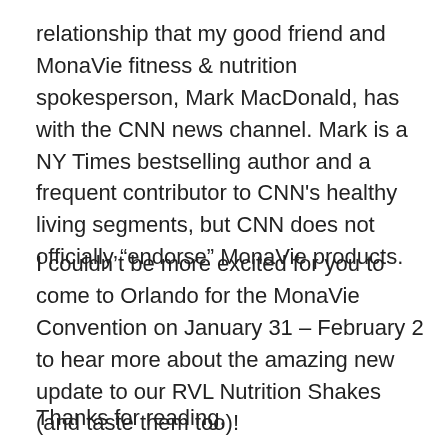relationship that my good friend and MonaVie fitness & nutrition spokesperson, Mark MacDonald, has with the CNN news channel. Mark is a NY Times bestselling author and a frequent contributor to CNN's healthy living segments, but CNN does not officially “endorse” MonaVie products.
I couldn’t be more excited for you to come to Orlando for the MonaVie Convention on January 31 – February 2 to hear more about the amazing new update to our RVL Nutrition Shakes (and taste them too)!
Thanks for reading,